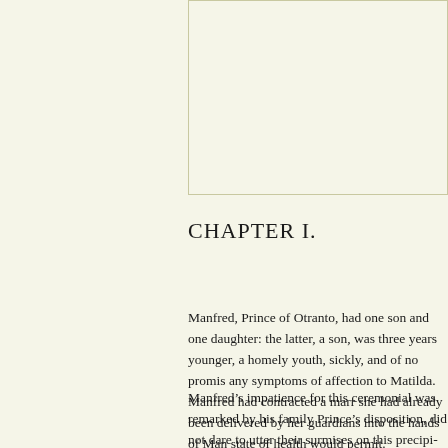[Figure (other): Blank image or illustration area at the top right of the page]
CHAPTER I.
Manfred, Prince of Otranto, had one son and one daughter: the latter, a son, was three years younger, a homely youth, sickly, and of no promis- any symptoms of affection to Matilda.  Manfred had contracted a marr- she had already been delivered by her guardians into the hands of Man- state of health would permit.
Manfred’s impatience for this ceremonial was remarked by his family Prince’s disposition, did not dare to utter their surmises on this precipi- represent the danger of marrying their only son so early, considering h-